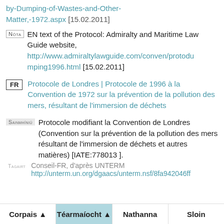by-Dumping-of-Wastes-and-Other-Matter,-1972.aspx [15.02.2011]
NÓTA  EN text of the Protocol: Admiralty and Maritime Law Guide website, http://www.admiraltylawguide.com/conven/protodumping1996.html [15.02.2011]
FR  Protocole de Londres | Protocole de 1996 à la Convention de 1972 sur la prévention de la pollution des mers, résultant de l'immersion de déchets
SAINMHÍNIÚ  Protocole modifiant la Convention de Londres (Convention sur la prévention de la pollution des mers résultant de l'immersion de déchets et autres matières) [IATE:778013 ].
TAGAIRT  Conseil-FR, d'après UNTERM http://unterm.un.org/dgaacs/unterm.nsf/8fa942046ff
Corpais ▲  Téarmaíocht ▲  Nathanna  Sloin